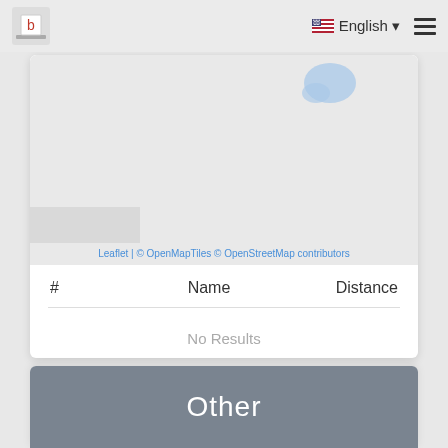English (language selector) | Navigation menu
[Figure (map): Partial map view with a light blue geographic shape visible in upper right. Gray patch in lower left. Attribution: Leaflet | © OpenMapTiles © OpenStreetMap contributors]
Leaflet | © OpenMapTiles © OpenStreetMap contributors
| # | Name | Distance |
| --- | --- | --- |
|  | No Results |  |
Other